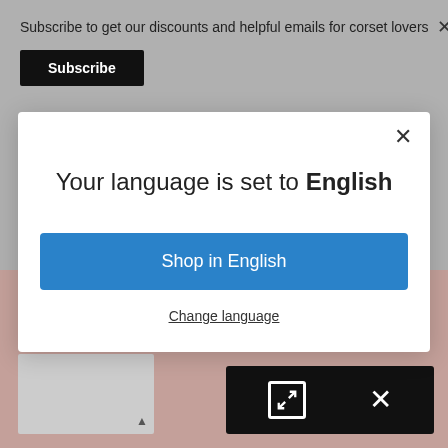Subscribe to get our discounts and helpful emails for corset lovers
Subscribe
[Figure (screenshot): Modal dialog with close X button, title 'Your language is set to English', a blue 'Shop in English' button, and a 'Change language' link]
Your language is set to English
Shop in English
Change language
[Figure (other): Gray thumbnail widget with up arrow]
[Figure (other): Black widget with resize icon and X button]